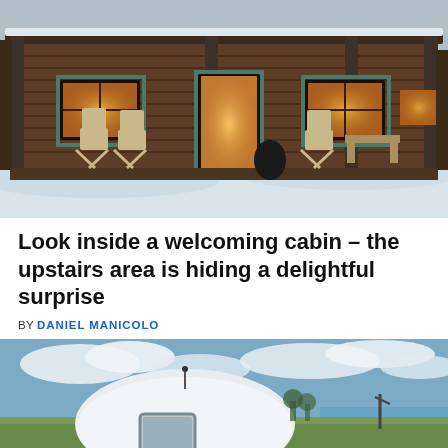[Figure (photo): Exterior of a log cabin in winter with snow on the ground. The cabin has a covered front porch with rocking chairs, glowing warm lights inside, teal/green trim around windows and door. Trees visible on the sides.]
Look inside a welcoming cabin – the upstairs area is hiding a delightful surprise
BY DANIEL MANICOLO
[Figure (photo): Outdoor scene with a large white dome or rounded structure in a field under a partly cloudy sky. There appears to be a body of water and trees in the background.]
© SmallerLiving.org   About Ads   Terms   Privacy   Do Not Sell My Info